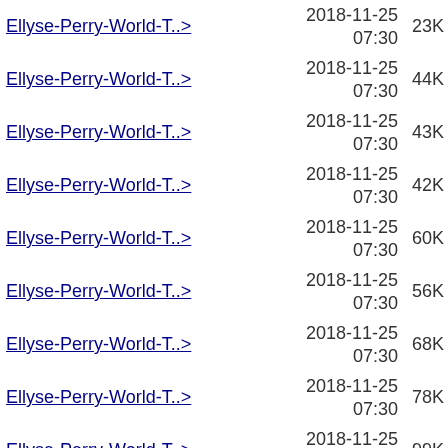| Name | Date | Size |
| --- | --- | --- |
| Ellyse-Perry-World-T..> | 2018-11-25 07:30 | 23K |
| Ellyse-Perry-World-T..> | 2018-11-25 07:30 | 44K |
| Ellyse-Perry-World-T..> | 2018-11-25 07:30 | 43K |
| Ellyse-Perry-World-T..> | 2018-11-25 07:30 | 42K |
| Ellyse-Perry-World-T..> | 2018-11-25 07:30 | 60K |
| Ellyse-Perry-World-T..> | 2018-11-25 07:30 | 56K |
| Ellyse-Perry-World-T..> | 2018-11-25 07:30 | 68K |
| Ellyse-Perry-World-T..> | 2018-11-25 07:30 | 78K |
| Ellyse-Perry-World-T..> | 2018-11-25 07:30 | 99K |
| Erwin-Rommel-Quotes-..> | 2018-11-02 08:03 | 2.3K |
| Erwin-Rommel-Quotes-..> | 2018-11-02 08:03 | 2.5K |
| Erwin-Rommel-Quotes-..> | 2018-11-02 08:03 | 3.3K |